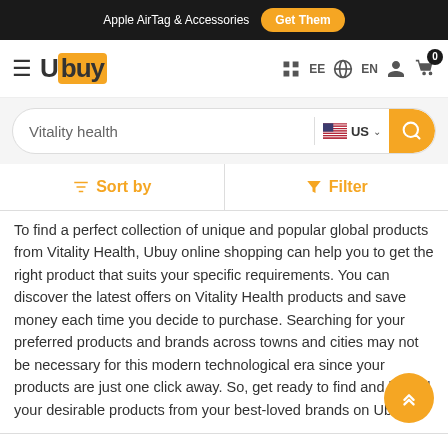Apple AirTag & Accessories  Get Them
[Figure (logo): Ubuy logo with orange background on 'buy' portion]
Vitality health  US
Sort by  Filter
To find a perfect collection of unique and popular global products from Vitality Health, Ubuy online shopping can help you to get the right product that suits your specific requirements. You can discover the latest offers on Vitality Health products and save money each time you decide to purchase. Searching for your preferred products and brands across towns and cities may not be necessary for this modern technological era since your products are just one click away. So, get ready to find and buy all your desirable products from your best-loved brands on Ubuy.